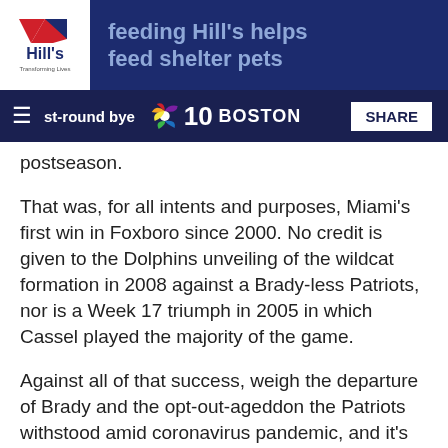[Figure (screenshot): Hill's pet food advertisement banner — Hill's logo on white background left, dark blue background with text 'feeding Hill's helps feed shelter pets' in light blue]
[Figure (screenshot): NBC 10 Boston navigation bar with hamburger menu icon, NBC peacock logo and '10 BOSTON' branding, and a white SHARE button on right]
postseason.
That was, for all intents and purposes, Miami's first win in Foxboro since 2000. No credit is given to the Dolphins unveiling of the wildcat formation in 2008 against a Brady-less Patriots, nor is a Week 17 triumph in 2005 in which Cassel played the majority of the game.
Against all of that success, weigh the departure of Brady and the opt-out-ageddon the Patriots withstood amid coronavirus pandemic, and it's never been fairer to ask if the end of New England's run atop the AFC East is nigh.